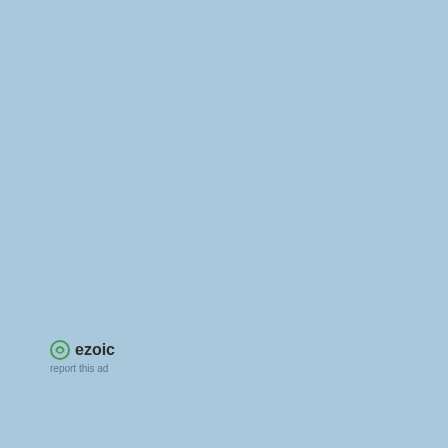[Figure (other): Ezoic advertisement panel with blue background showing the Ezoic logo and 'report this ad' text]
# Probably it could be done be
if echo $@ | tr -d [:blank:] |
    exit $E_BADARGS
fi

BOX_HEIGHT=`expr $3 - 1`    # 
BOX_WIDTH=`expr $4 - 1`     #+ a
T_ROWS=`tput lines`         # D
T_COLS=`tput cols`          #+ 

if [ $1 -lt 1 ] || [ $1 -gt $T_
    exit $E_BADARGS
fi
if [ $2 -lt 1 ] || [ $2 -gt $T_
    exit $E_BADARGS
fi
if [ `expr $1 + $BOX_HEIGHT + 
    exit $E_BADARGS
fi
if [ `expr $2 + $BOX_WIDTH + 1
    exit $E_BADARGS
fi
if [ $3 -lt 1 ] || [ $4 -lt 1
    exit $E_BADARGS
fi